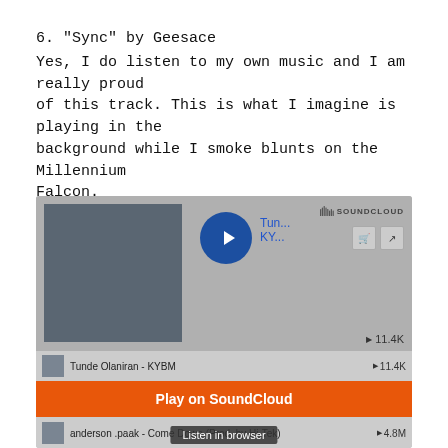6. "Sync" by Geesace
Yes, I do listen to my own music and I am really proud of this track. This is what I imagine is playing in the background while I smoke blunts on the Millennium Falcon.
[Figure (screenshot): SoundCloud embedded music player widget showing Tunde Olaniran - KYBM track with playlist including anderson .paak - Come Down (Prod. by Hi-Tek) and FRANK LEONE. Shows 11.4K plays. Orange 'Play on SoundCloud' button and 'Listen in browser' tooltip visible.]